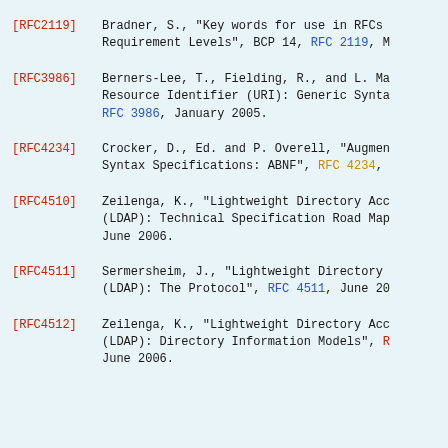[RFC2119]   Bradner, S., "Key words for use in RFCs to Indicate Requirement Levels", BCP 14, RFC 2119, M
[RFC3986]   Berners-Lee, T., Fielding, R., and L. Ma Resource Identifier (URI): Generic Synta RFC 3986, January 2005.
[RFC4234]   Crocker, D., Ed. and P. Overell, "Augmen Syntax Specifications: ABNF", RFC 4234,
[RFC4510]   Zeilenga, K., "Lightweight Directory Acc (LDAP): Technical Specification Road Map June 2006.
[RFC4511]   Sermersheim, J., "Lightweight Directory (LDAP): The Protocol", RFC 4511, June 20
[RFC4512]   Zeilenga, K., "Lightweight Directory Acc (LDAP): Directory Information Models", R June 2006.